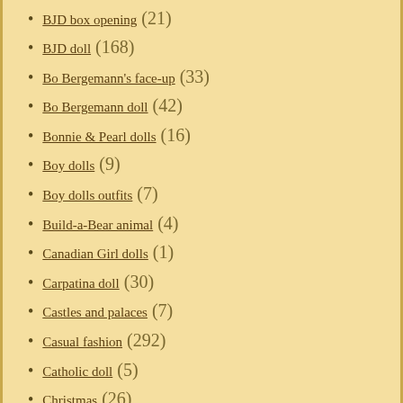BJD box opening (21)
BJD doll (168)
Bo Bergemann's face-up (33)
Bo Bergemann doll (42)
Bonnie & Pearl dolls (16)
Boy dolls (9)
Boy dolls outfits (7)
Build-a-Bear animal (4)
Canadian Girl dolls (1)
Carpatina doll (30)
Castles and palaces (7)
Casual fashion (292)
Catholic doll (5)
Christmas (26)
Contemporary fashion (324)
Cristy Stone doll (4)
Cristy Stone face-up (28)
Crocheting for dolls (51)
Custom BJD face-up (109)